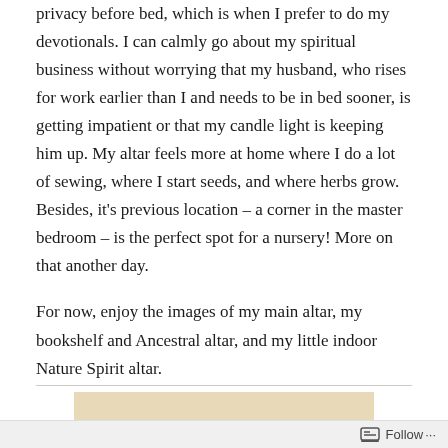privacy before bed, which is when I prefer to do my devotionals.  I can calmly go about my spiritual business without worrying that my husband, who rises for work earlier than I and needs to be in bed sooner, is getting impatient or that my candle light is keeping him up.  My altar feels more at home where I do a lot of sewing, where I start seeds, and where herbs grow.  Besides, it's previous location – a corner in the master bedroom – is the perfect spot for a nursery!  More on that another day.
For now, enjoy the images of my main altar, my bookshelf and Ancestral altar, and my little indoor Nature Spirit altar.
[Figure (photo): Partial view of a decorative sun face ornament with radiating golden rays, shown against a beige/tan background. Image is cropped at the bottom of the page.]